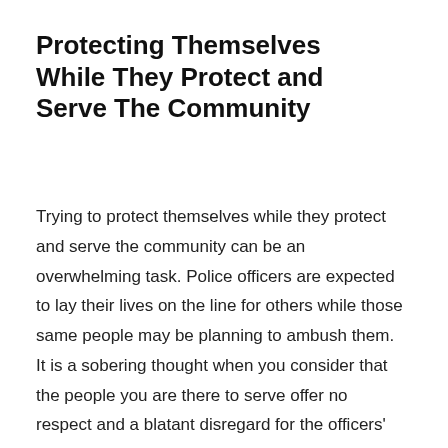Protecting Themselves While They Protect and Serve The Community
Trying to protect themselves while they protect and serve the community can be an overwhelming task. Police officers are expected to lay their lives on the line for others while those same people may be planning to ambush them. It is a sobering thought when you consider that the people you are there to serve offer no respect and a blatant disregard for the officers' lives.